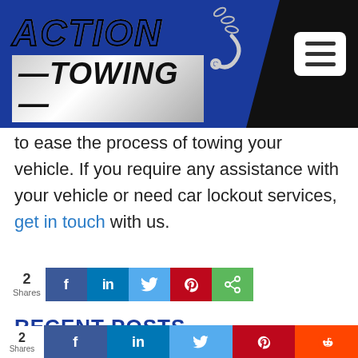[Figure (logo): Action Towing logo on blue and black header background with hamburger menu button]
to ease the process of towing your vehicle. If you require any assistance with your vehicle or need car lockout services, get in touch with us.
[Figure (infographic): Social share bar with count 2 Shares and buttons for Facebook, LinkedIn, Twitter, Pinterest, Share]
RECENT POSTS
[Figure (infographic): Social share bar with count 2 Shares and buttons for Facebook, LinkedIn, Twitter, Pinterest, Reddit]